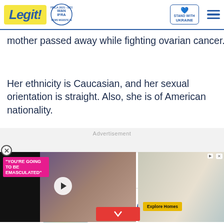Legit | WAN IFRA 2021 Best News Website in Africa | Stand with Ukraine
mother passed away while fighting ovarian cancer.
Her ethnicity is Caucasian, and her sexual orientation is straight. Also, she is of American nationality.
Advertisement
[Figure (screenshot): Video thumbnail showing a couple with text overlay 'YOU'RE GOING TO BE EMASCULATED' and a play button, plus an Explore Homes ad panel on the right]
[Figure (screenshot): Vrbo advertisement banner with logo, vacation home image, 'Find family getaways nearby' text, and 'Book early' button]